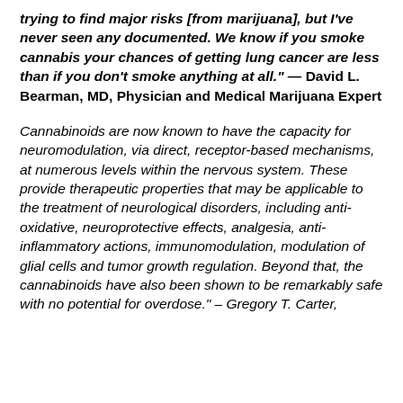trying to find major risks [from marijuana], but I've never seen any documented. We know if you smoke cannabis your chances of getting lung cancer are less than if you don't smoke anything at all." — David L. Bearman, MD, Physician and Medical Marijuana Expert
Cannabinoids are now known to have the capacity for neuromodulation, via direct, receptor-based mechanisms, at numerous levels within the nervous system. These provide therapeutic properties that may be applicable to the treatment of neurological disorders, including anti-oxidative, neuroprotective effects, analgesia, anti-inflammatory actions, immunomodulation, modulation of glial cells and tumor growth regulation. Beyond that, the cannabinoids have also been shown to be remarkably safe with no potential for overdose." – Gregory T. Carter,